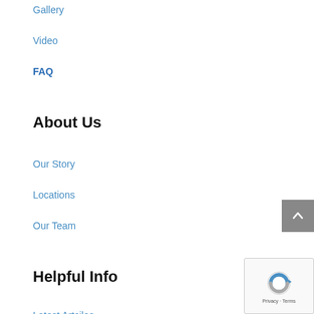Gallery
Video
FAQ
About Us
Our Story
Locations
Our Team
Helpful Info
Latest Artciles
Contact Us